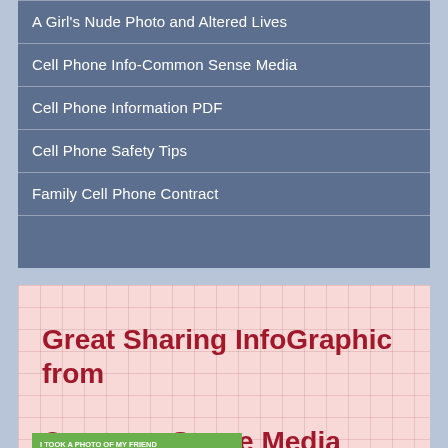A Girl's Nude Photo and Altered Lives
Cell Phone Info-Common Sense Media
Cell Phone Information PDF
Cell Phone Safety Tips
Family Cell Phone Contract
Great Sharing InfoGraphic from Common Sense Media
[Figure (infographic): Infographic flowchart titled 'I took a photo of my friend that I want to share...now what?' with yes/no questions including 'Is it a good photo?', 'Would my friend agree?', and a third partially visible question.]